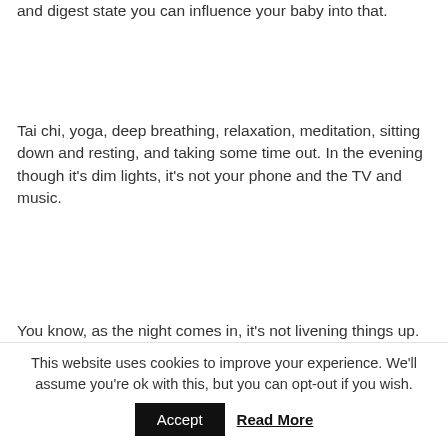and digest state you can influence your baby into that.
Tai chi, yoga, deep breathing, relaxation, meditation, sitting down and resting, and taking some time out. In the evening though it's dim lights, it's not your phone and the TV and music.
You know, as the night comes in, it's not livening things up. It's going naturally with calming them down. So, those
This website uses cookies to improve your experience. We'll assume you're ok with this, but you can opt-out if you wish.